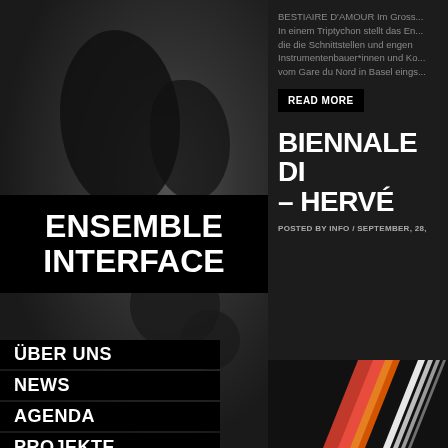[Figure (photo): Dark artistic photograph, left side background with dark silhouettes and abstract shapes]
ENSEMBLE INTERFACE
ÜBER UNS
NEWS
AGENDA
PROJEKTE
MEDIEN
AUFNAHMEN
BESTIAIRE D'AMOUR Im Gross... In einem Triptychon stellt das En... die die Schnittstellen und engen... Instrumentenbauer*innen und Ko... vom Gare du Nord in Basel eings...
READ MORE
BIENNALE DI – HERVÉ
POSTED BY INFO / SEPTEMBER, 28,
[Figure (photo): Bottom strip image showing colorful diagonal shapes in red, orange and white on dark background]